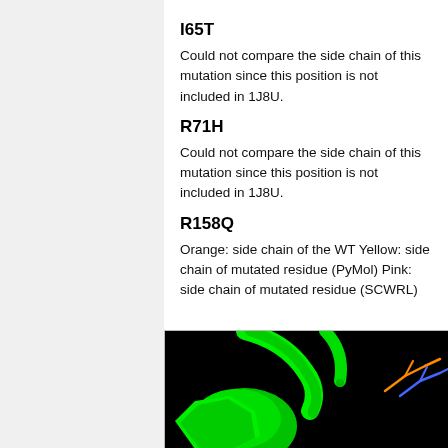I65T
Could not compare the side chain of this mutation since this position is not included in 1J8U.
R71H
Could not compare the side chain of this mutation since this position is not included in 1J8U.
R158Q
Orange: side chain of the WT Yellow: side chain of mutated residue (PyMol) Pink: side chain of mutated residue (SCWRL)
[Figure (photo): Molecular visualization on black background showing green protein structure with orange and blue/purple side chains representing WT and mutated residues.]